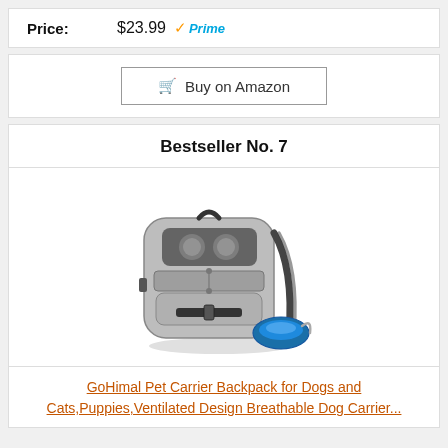Price: $23.99 Prime
Buy on Amazon
Bestseller No. 7
[Figure (photo): GoHimal pet carrier backpack for dogs and cats, gray with mesh panels, shown with a collapsible blue bowl]
GoHimal Pet Carrier Backpack for Dogs and Cats,Puppies,Ventilated Design Breathable Dog Carrier...